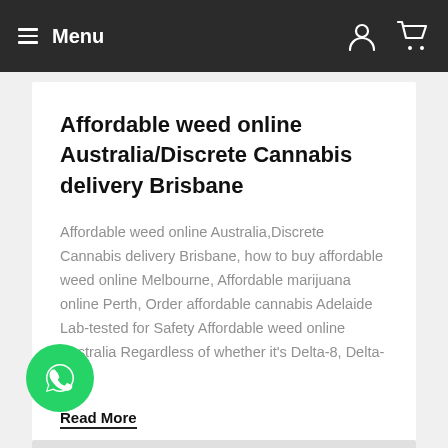Menu
Affordable weed online Australia/Discrete Cannabis delivery Brisbane
Affordable weed online Australia,Discrete Cannabis delivery Brisbane, how to buy affordable weed online Melbourne, Affordable marijuana online Perth, Order affordable cannabis Adelaide Lab-tested for Safety Affordable weed online Australia Regardless of whether it's Delta-8, Delta-9, or.
Read More
[Figure (logo): WhatsApp green circular logo button]